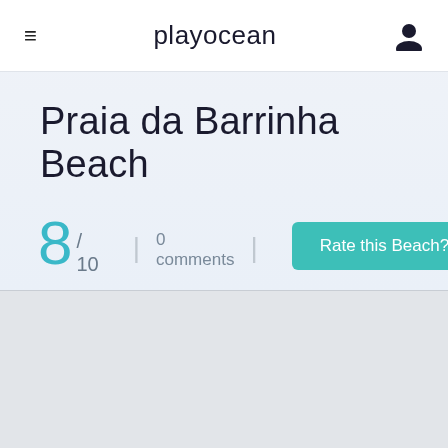playocean
Praia da Barrinha Beach
8 / 10  |  0 comments  |  Rate this Beach?